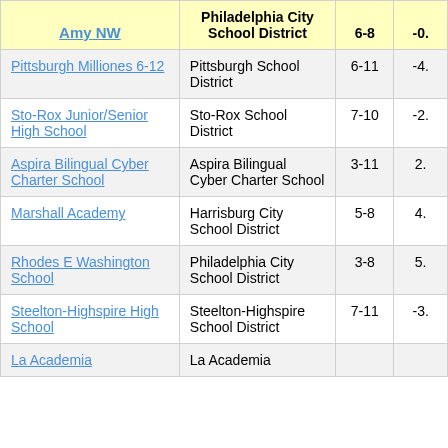| Amy NW | Philadelphia City School District | 6-8 | -0. |
| --- | --- | --- | --- |
| Pittsburgh Milliones 6-12 | Pittsburgh School District | 6-11 | -4. |
| Sto-Rox Junior/Senior High School | Sto-Rox School District | 7-10 | -2. |
| Aspira Bilingual Cyber Charter School | Aspira Bilingual Cyber Charter School | 3-11 | 2. |
| Marshall Academy | Harrisburg City School District | 5-8 | 4. |
| Rhodes E Washington School | Philadelphia City School District | 3-8 | 5. |
| Steelton-Highspire High School | Steelton-Highspire School District | 7-11 | -3. |
| La Academia | La Academia |  |  |